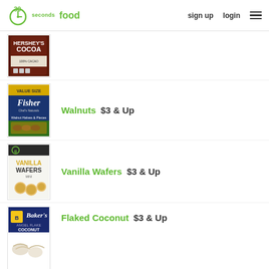30 seconds food — sign up  login
[Figure (photo): Hershey's Cocoa 100% Cacao product image]
[Figure (photo): Fisher Walnut Halves & Pieces bag]
Walnuts  $3 & Up
[Figure (photo): Vanilla Wafers box]
Vanilla Wafers  $3 & Up
[Figure (photo): Baker's Flaked Coconut package]
Flaked Coconut  $3 & Up